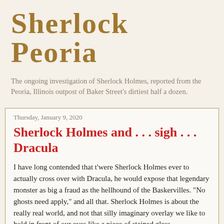Sherlock Peoria
The ongoing investigation of Sherlock Holmes, reported from the Peoria, Illinois outpost of Baker Street's dirtiest half a dozen.
Thursday, January 9, 2020
Sherlock Holmes and . . . sigh . . . Dracula
I have long contended that t'were Sherlock Holmes ever to actually cross over with Dracula, he would expose that legendary monster as big a fraud as the hellhound of the Baskervilles. "No ghosts need apply," and all that. Sherlock Holmes is about the really real world, and not that silly imaginary overlay we like to hold in front of our eyes like a piece of stained glass.
Yet, like Holmes and the Ripper, those two products of the Victorian era, Sherlock Holmes and Count Dracula have...